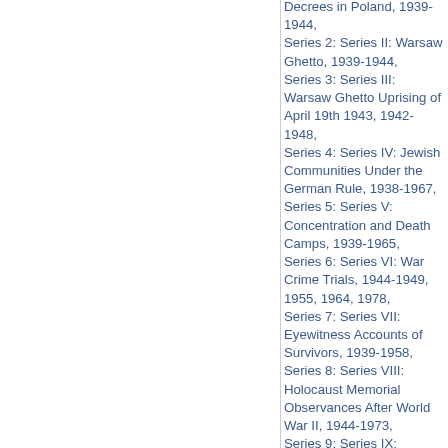Decrees in Poland, 1939-1944, Series 2: Series II: Warsaw Ghetto, 1939-1944, Series 3: Series III: Warsaw Ghetto Uprising of April 19th 1943, 1942-1948, Series 4: Series IV: Jewish Communities Under the German Rule, 1938-1967, Series 5: Series V: Concentration and Death Camps, 1939-1965, Series 6: Series VI: War Crime Trials, 1944-1949, 1955, 1964, 1978, Series 7: Series VII: Eyewitness Accounts of Survivors, 1939-1958, Series 8: Series VIII: Holocaust Memorial Observances After World War II, 1944-1973, Series 9: Series IX: Newspaper Clippings,